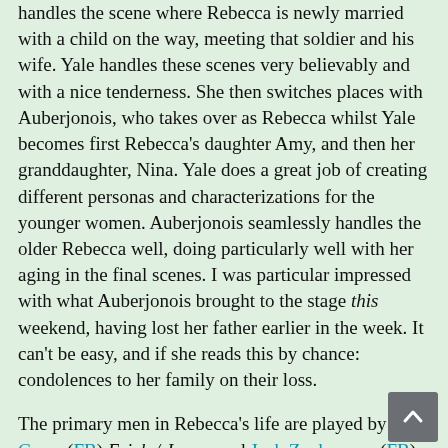handles the scene where Rebecca is newly married with a child on the way, meeting that soldier and his wife. Yale handles these scenes very believably and with a nice tenderness. She then switches places with Auberjonois, who takes over as Rebecca whilst Yale becomes first Rebecca's daughter Amy, and then her granddaughter, Nina. Yale does a great job of creating different personas and characterizations for the younger women. Auberjonois seamlessly handles the older Rebecca well, doing particularly well with her aging in the final scenes. I was particular impressed with what Auberjonois brought to the stage this weekend, having lost her father earlier in the week. It can't be easy, and if she reads this by chance: condolences to her family on their loss.
The primary men in Rebecca's life are played by Arye Gross (FB) Erich / Joram and Josh Zuckerman (FB) Aaron. We meet Gross's Erich first: a seemingly genial fellow, who doesn't seem to have been affected that much by Germany, or the